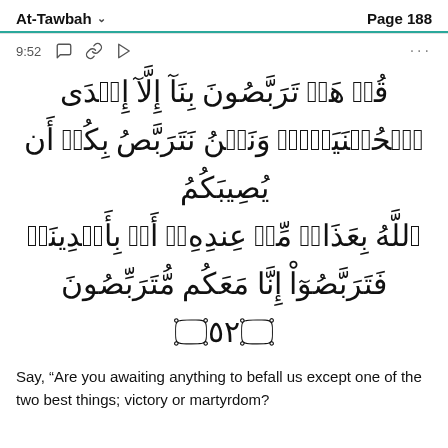At-Tawbah    Page 188
9:52
[Figure (other): Arabic Quran verse 9:52 in large Arabic calligraphy script]
Say, “Are you awaiting anything to befall us except one of the two best things; victory or martyrdom?